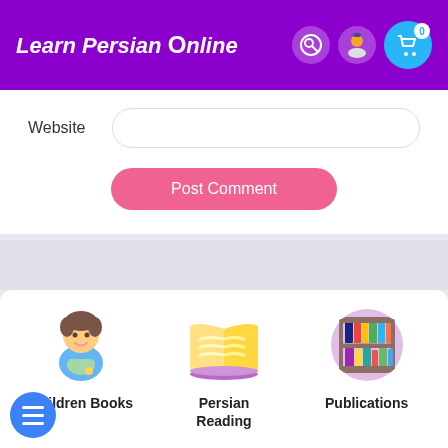Learn Persian Online
Website
Post Comment
[Figure (illustration): Boy cartoon icon for Children Books category]
Children Books
[Figure (illustration): Open book cartoon icon for Persian Reading category]
Persian Reading
[Figure (illustration): Bookshelf cartoon icon for Publications category]
Publications